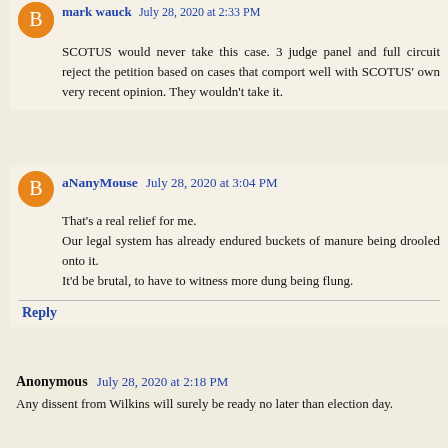SCOTUS would never take this case. 3 judge panel and full circuit reject the petition based on cases that comport well with SCOTUS' own very recent opinion. They wouldn't take it.
aNanyMouse July 28, 2020 at 3:04 PM
That's a real relief for me. Our legal system has already endured buckets of manure being drooled onto it. It'd be brutal, to have to witness more dung being flung.
Reply
Anonymous July 28, 2020 at 2:18 PM
Any dissent from Wilkins will surely be ready no later than election day.